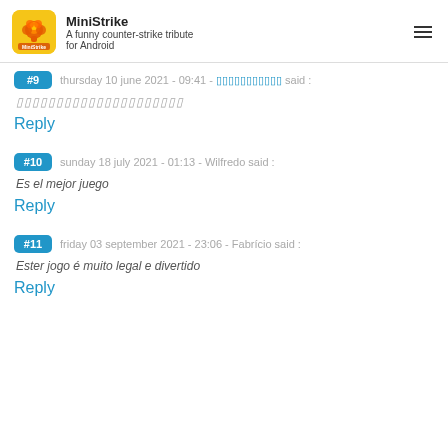MiniStrike - A funny counter-strike tribute for Android
#9 thursday 10 june 2021 - 09:41 - [redacted] said :
[redacted]
Reply
#10 sunday 18 july 2021 - 01:13 - Wilfredo said :
Es el mejor juego
Reply
#11 friday 03 september 2021 - 23:06 - Fabrício said :
Ester jogo é muito legal e divertido
Reply